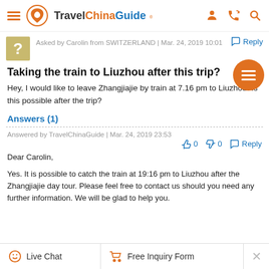Travel China Guide
Asked by Carolin from SWITZERLAND | Mar. 24, 2019 10:01
Taking the train to Liuzhou after this trip?
Hey, I would like to leave Zhangjiajie by train at 7.16 pm to Liuzhou. Is this possible after the trip?
Answers (1)
Answered by TravelChinaGuide | Mar. 24, 2019 23:53
Dear Carolin,

Yes. It is possible to catch the train at 19:16 pm to Liuzhou after the Zhangjiajie day tour. Please feel free to contact us should you need any further information. We will be glad to help you.
Live Chat   Free Inquiry Form